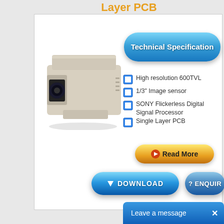Layer PCB
[Figure (photo): White box security camera mounted on housing, angled view showing lens]
Technical Specification
High resolution 600TVL
1/3" Image sensor
SONY Flickerless Digital Signal Processor
Single Layer PCB
Read More
DOWNLOAD
ENQUIRY
Leave a message